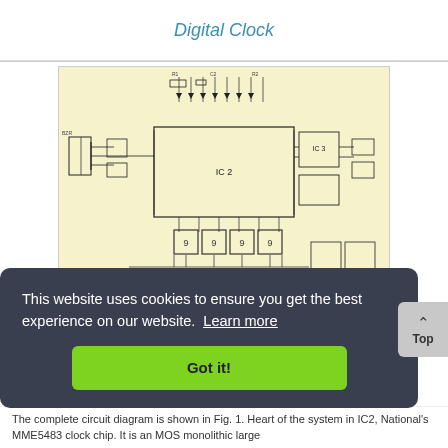Digital Clock
[Figure (circuit-diagram): Complete circuit diagram of a Digital Clock showing integrated circuits, components, and connections including IC chips, resistors, capacitors, and display elements on yellowed paper]
This website uses cookies to ensure you get the best experience on our website. Learn more
Got it!
The complete circuit diagram is shown in Fig. 1. Heart of the system in IC2, National's MME5483 clock chip. It is an MOS monolithic large